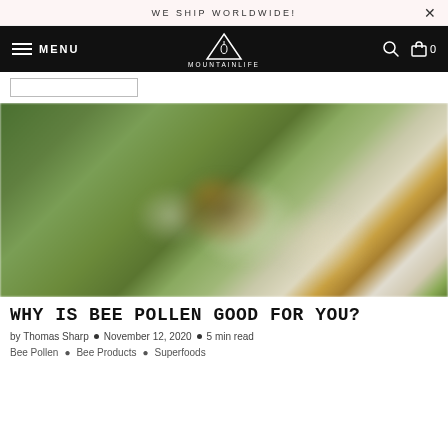WE SHIP WORLDWIDE!
MENU  MOUNTAINLIFE  0
[Figure (photo): Blurred close-up photograph of a bee on white flowers with green foliage background]
WHY IS BEE POLLEN GOOD FOR YOU?
by Thomas Sharp  •  November 12, 2020  •  5 min read
Bee Pollen  •  Bee Products  •  Superfoods